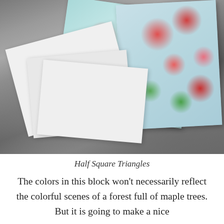[Figure (photo): Photograph of quilt fabric pieces arranged on a gray surface. White fabric triangles/squares in the foreground, with colorful teal and pink floral patterned fabric pieces behind them — half square triangle quilt blocks.]
Half Square Triangles
The colors in this block won't necessarily reflect the colorful scenes of a forest full of maple trees. But it is going to make a nice